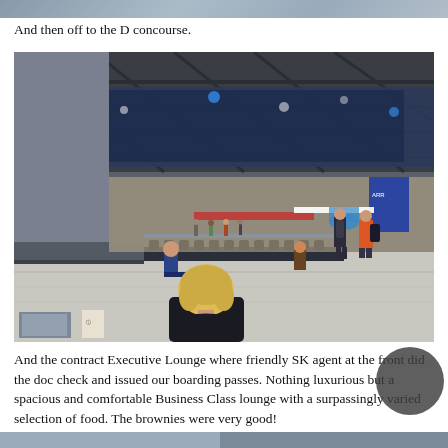[Figure (photo): Partial top of a previous photo, cropped at the top of the page]
And then off to the D concourse.
[Figure (photo): Interior photo of an airport terminal (D concourse) showing a large hall with high ceilings, seating areas, people walking, a woman with blonde hair seated in foreground, and airport signage visible including Terminal D sign]
And the contract Executive Lounge where friendly SK agent at the front did the doc check and issued our boarding passes. Nothing luxurious but a spacious and comfortable Business Class lounge with a surpassingly varied selection of food. The brownies were very good!
[Figure (photo): Bottom strip showing the top portion of another photo below]